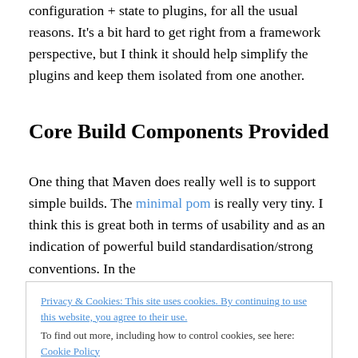configuration + state to plugins, for all the usual reasons. It's a bit hard to get right from a framework perspective, but I think it should help simplify the plugins and keep them isolated from one another.
Core Build Components Provided
One thing that Maven does really well is to support simple builds. The minimal pom is really very tiny. I think this is great both in terms of usability and as an indication of powerful build standardisation/strong conventions. In the
Privacy & Cookies: This site uses cookies. By continuing to use this website, you agree to their use.
To find out more, including how to control cookies, see here: Cookie Policy
[Close and accept]
assembles the classpath for the test compilation, yet